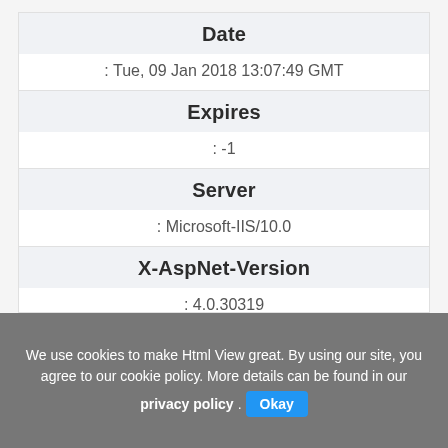| Field | Value |
| --- | --- |
| Date | : Tue, 09 Jan 2018 13:07:49 GMT |
| Expires | : -1 |
| Server | : Microsoft-IIS/10.0 |
| X-AspNet-Version | : 4.0.30319 |
| X-Powered-By | : ASP.NET |
We use cookies to make Html View great. By using our site, you agree to our cookie policy. More details can be found in our privacy policy. Okay